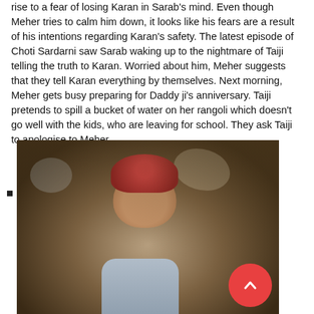rise to a fear of losing Karan in Sarab's mind. Even though Meher tries to calm him down, it looks like his fears are a result of his intentions regarding Karan's safety. The latest episode of Choti Sardarni saw Sarab waking up to the nightmare of Taiji telling the truth to Karan. Worried about him, Meher suggests that they tell Karan everything by themselves. Next morning, Meher gets busy preparing for Daddy ji's anniversary. Taiji pretends to spill a bucket of water on her rangoli which doesn't go well with the kids, who are leaving for school. They ask Taiji to apologise to Meher
[Figure (photo): A young child wearing a red turban and light blue school uniform, looking upward with an open mouth expression, in a dramatic lighting scenario with blurred background.]